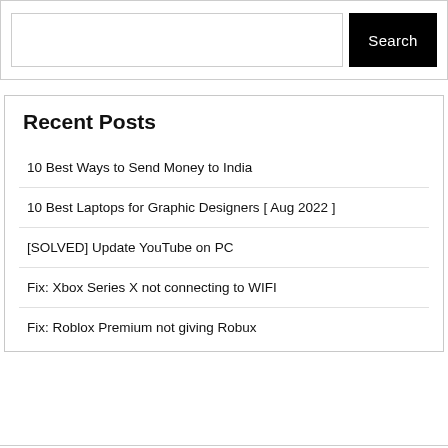[Figure (screenshot): Search input box with a black Search button on the right]
Recent Posts
10 Best Ways to Send Money to India
10 Best Laptops for Graphic Designers [ Aug 2022 ]
[SOLVED] Update YouTube on PC
Fix: Xbox Series X not connecting to WIFI
Fix: Roblox Premium not giving Robux